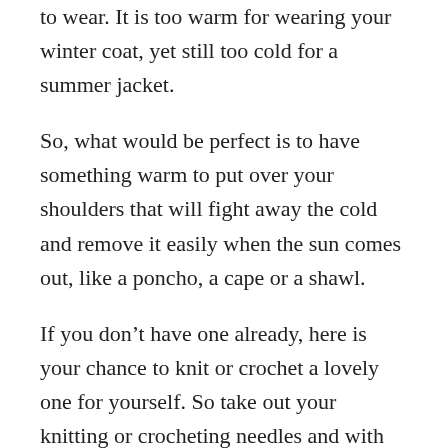to wear. It is too warm for wearing your winter coat, yet still too cold for a summer jacket.
So, what would be perfect is to have something warm to put over your shoulders that will fight away the cold and remove it easily when the sun comes out, like a poncho, a cape or a shawl.
If you don’t have one already, here is your chance to knit or crochet a lovely one for yourself. So take out your knitting or crocheting needles and with our top 10 cozy shrugs you can make your very own protection against the winter-end chills.
Lightweight Zen Jacket